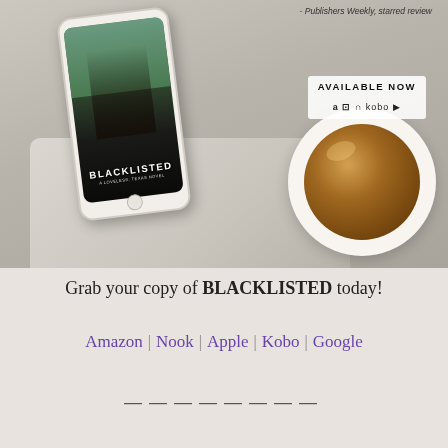[Figure (photo): Promotional book advertisement showing a smartphone displaying the book cover of 'BLACKLISTED - A Loveless, Texas Novel' with a cowboy image, a cup of coffee/latte on a cozy knit blanket background, with 'AVAILABLE NOW' text and retailer icons (Amazon, B&N, Nook, Kobo). Text at top right reads 'Publishers Weekly, starred review'.]
Grab your copy of BLACKLISTED today!
Amazon | Nook | Apple | Kobo | Google
————————